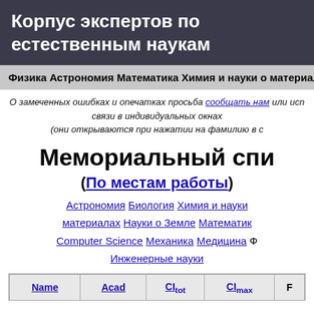Корпус экспертов по естественным наукам
Физика   Астрономия   Математика   Химия и науки о материалах
О замеченных ошибках и опечатках просьба сообщать нам или исп связи в индивидуальных окнах (они открываются при нажатии на фамилию в с
Мемориальный спи
(По местам работы)
Астрономия Биология Химия и науки о материалах Науки о Земле Математик Computer Science Механика Медицина Ф Инженерные науки
| Name | Acad | CItot | CImax | F |
| --- | --- | --- | --- | --- |